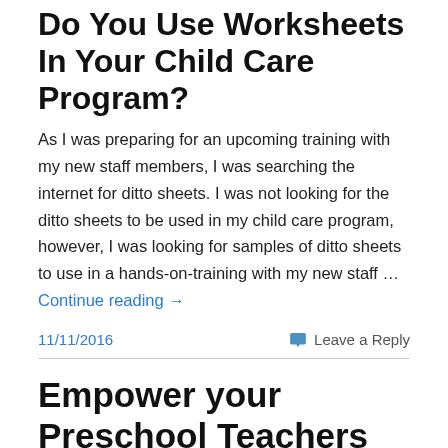Do You Use Worksheets In Your Child Care Program?
As I was preparing for an upcoming training with my new staff members, I was searching the internet for ditto sheets. I was not looking for the ditto sheets to be used in my child care program, however, I was looking for samples of ditto sheets to use in a hands-on-training with my new staff … Continue reading →
11/11/2016
Leave a Reply
Empower your Preschool Teachers to Create Enriching Lesson Plans